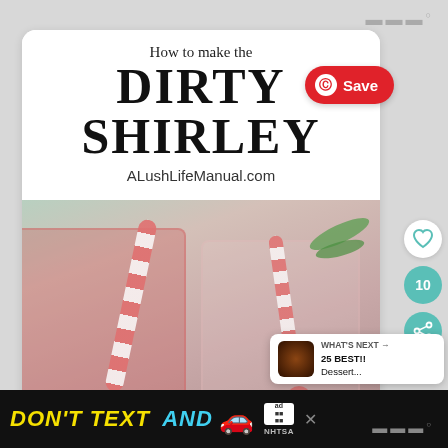[Figure (screenshot): Pinterest-style save button overlay on top right of card]
How to make the DIRTY SHIRLEY
ALushLifeManual.com
[Figure (photo): Two glasses of pink/red Dirty Shirley cocktail drinks with striped straws and ice, on a light background with green garnish]
[Figure (other): Heart icon button (like/save) on right sidebar]
10
[Figure (other): Share icon button (teal) on right sidebar]
WHAT'S NEXT → 25 BEST!! Dessert...
DON'T TEXT AND
[Figure (infographic): Ad banner: DON'T TEXT AND [car emoji] with NHTSA ad badge, black background, yellow and cyan text]